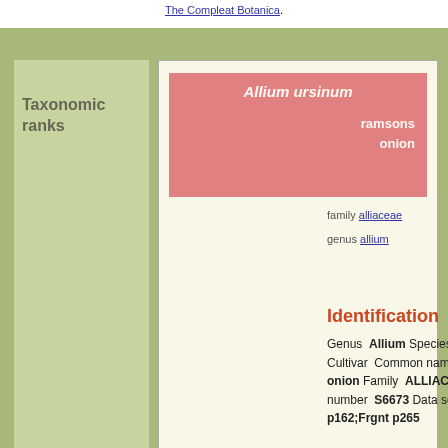The Compleat Botanica.
Taxonomic ranks
Allium ursinum
ramsons onion
family alliaceae
More specimen entries [prev] [allium ursinum] [Next]
genus allium
Identification
Genus Allium Species ursinum Variety Cultivar Common names ramsons onion Family ALLIACEAE Specimen number S6673 Data source MedPl p162;Frgnt p265